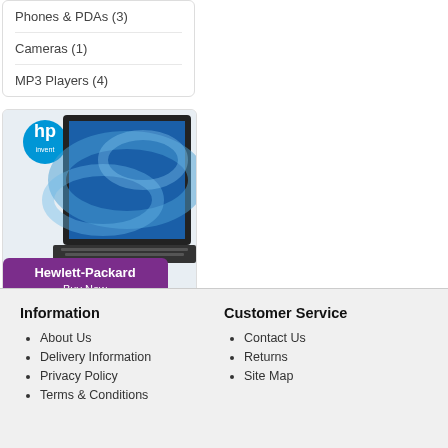Phones & PDAs (3)
Cameras (1)
MP3 Players (4)
[Figure (illustration): HP laptop advertisement with HP logo (blue circle with white 'hp' text and 'invent' below), an open laptop with blue swirl wallpaper, and a purple banner reading 'Hewlett-Packard Buy Now']
Information
About Us
Delivery Information
Privacy Policy
Terms & Conditions
Customer Service
Contact Us
Returns
Site Map